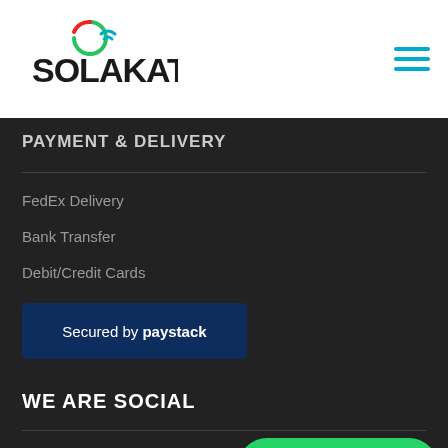[Figure (logo): Solakat logo with colorful circular icon above the O, in black text with green/red/blue accent]
[Figure (other): Hamburger menu icon with three teal horizontal lines]
PAYMENT & DELIVERY
FedEx Delivery
Bank Transfer
Debit/Credit Cards
[Figure (other): Secured by paystack button — dark navy blue rectangular button with white text]
WE ARE SOCIAL
Facebook
LinkedIn
Twitter
[Figure (other): WhatsApp us green pill button with WhatsApp phone icon]